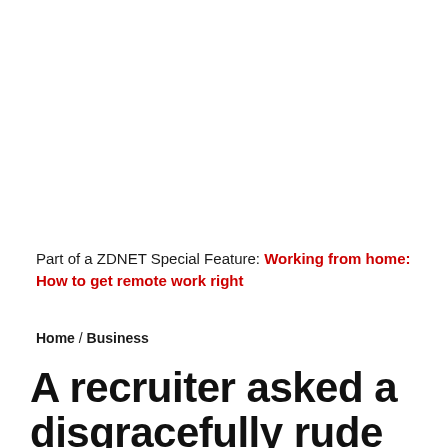Part of a ZDNET Special Feature: Working from home: How to get remote work right
Home / Business
A recruiter asked a disgracefully rude question and acted as if